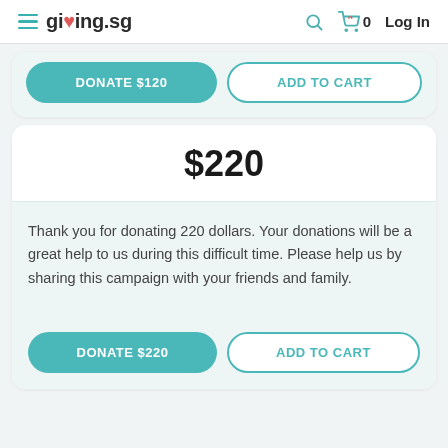giving.sg — Log In
DONATE $120 | ADD TO CART
$220
Thank you for donating 220 dollars. Your donations will be a great help to us during this difficult time. Please help us by sharing this campaign with your friends and family.
DONATE $220 | ADD TO CART